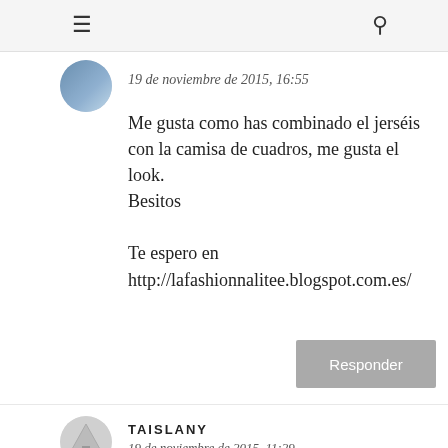≡  🔍
19 de noviembre de 2015, 16:55
Me gusta como has combinado el jerséis con la camisa de cuadros, me gusta el look.
Besitos

Te espero en http://lafashionnalitee.blogspot.com.es/
Responder
TAISLANY
19 de noviembre de 2015, 11:29